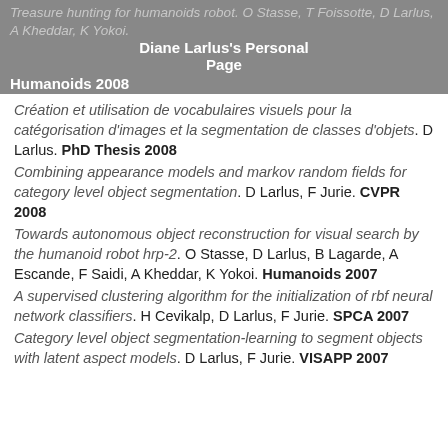Treasure hunting for humanoids robot. O Stasse, T Foissotte, D Larlus, A Kheddar, K Yokoi. Humanoids 2008 — Diane Larlus's Personal Page
Création et utilisation de vocabulaires visuels pour la catégorisation d'images et la segmentation de classes d'objets. D Larlus. PhD Thesis 2008
Combining appearance models and markov random fields for category level object segmentation. D Larlus, F Jurie. CVPR 2008
Towards autonomous object reconstruction for visual search by the humanoid robot hrp-2. O Stasse, D Larlus, B Lagarde, A Escande, F Saidi, A Kheddar, K Yokoi. Humanoids 2007
A supervised clustering algorithm for the initialization of rbf neural network classifiers. H Cevikalp, D Larlus, F Jurie. SPCA 2007
Category level object segmentation-learning to segment objects with latent aspect models. D Larlus, F Jurie. VISAPP 2007